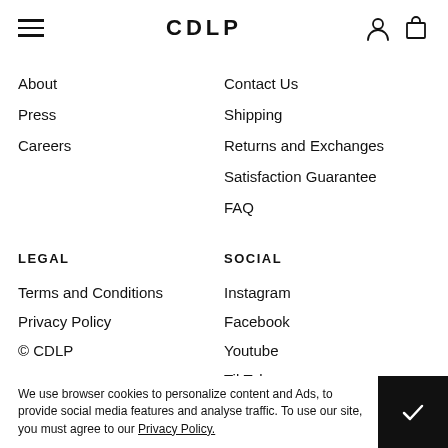CDLP
About
Press
Careers
Contact Us
Shipping
Returns and Exchanges
Satisfaction Guarantee
FAQ
LEGAL
SOCIAL
Terms and Conditions
Privacy Policy
© CDLP
Instagram
Facebook
Youtube
TikTok
We use browser cookies to personalize content and Ads, to provide social media features and analyse traffic. To use our site, you must agree to our Privacy Policy.